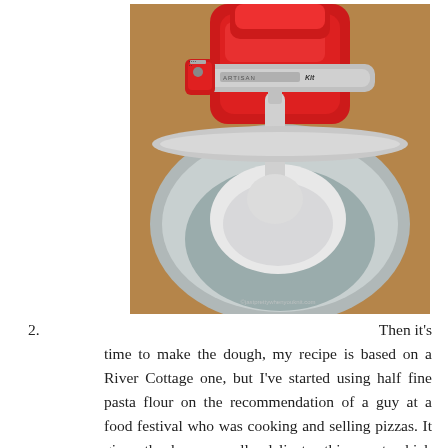[Figure (photo): Close-up photograph of a red KitchenAid Artisan stand mixer with a stainless steel bowl containing white dough or mixture, on a wooden surface. A watermark is visible in the bottom right corner.]
2. Then it's time to make the dough, my recipe is based on a River Cottage one, but I've started using half fine pasta flour on the recommendation of a guy at a food festival who was cooking and selling pizzas. It gives the base a really delicate, thin crust which makes all the difference. For the dough I use our KitchenAid; simply mix the water, yeast and oil together and leave for 5 minutes for the yeast to get